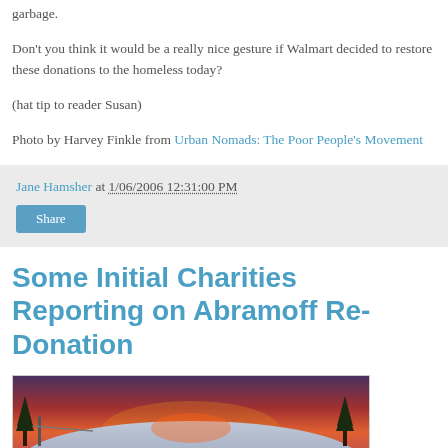garbage.
Don't you think it would be a really nice gesture if Walmart decided to restore these donations to the homeless today?
(hat tip to reader Susan)
Photo by Harvey Finkle from Urban Nomads: The Poor People's Movement
Jane Hamsher at 1/06/2006 12:31:00 PM
Share
Some Initial Charities Reporting on Abramoff Re-Donation
[Figure (photo): Outdoor winter scene with snow-covered landscape and colorful sky, possibly a mountain or forest setting at dusk or dawn.]